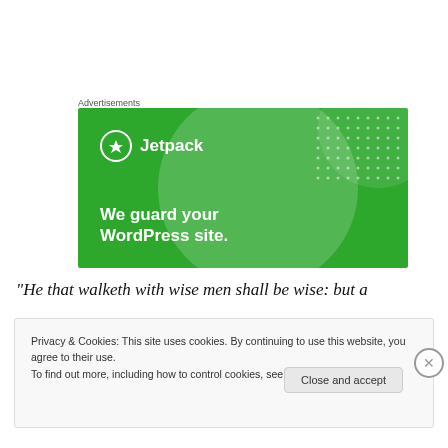Advertisements
[Figure (illustration): Jetpack advertisement banner on green background with tagline 'We guard your WordPress site.']
“He that walketh with wise men shall be wise: but a
Privacy & Cookies: This site uses cookies. By continuing to use this website, you agree to their use.
To find out more, including how to control cookies, see here: Cookie Policy
Close and accept